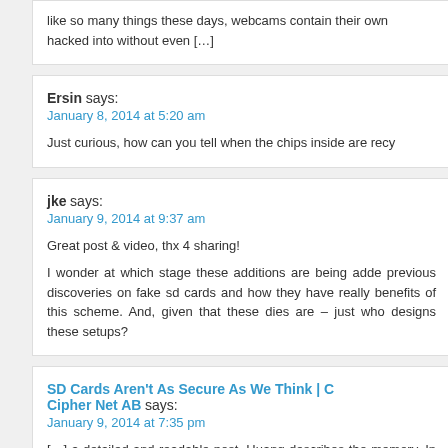like so many things these days, webcams contain their own hacked into without even […]
Ersin says:
January 8, 2014 at 5:20 am
Just curious, how can you tell when the chips inside are recy
jke says:
January 9, 2014 at 9:37 am
Great post & video, thx 4 sharing!
I wonder at which stage these additions are being adde previous discoveries on fake sd cards and how they have really benefits of this scheme. And, given that these dies are – just who designs these setups?
SD Cards Aren't As Secure As We Think | Cipher Net AB says:
January 9, 2014 at 7:35 pm
[…] a detailed and readable post, Huang describes the memory. In order to reduce the price and increase […]